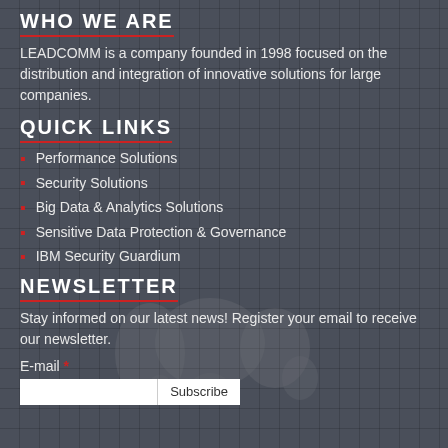WHO WE ARE
LEADCOMM is a company founded in 1998 focused on the distribution and integration of innovative solutions for large companies.
QUICK LINKS
Performance Solutions
Security Solutions
Big Data & Analytics Solutions
Sensitive Data Protection & Governance
IBM Security Guardium
NEWSLETTER
Stay informed on our latest news! Register your email to receive our newsletter.
E-mail *